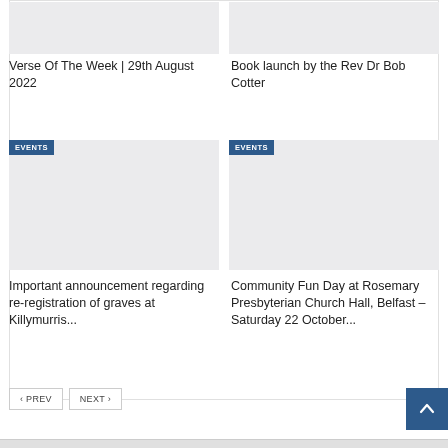[Figure (photo): Gray placeholder image for Verse Of The Week post]
Verse Of The Week | 29th August 2022
[Figure (photo): Gray placeholder image for Book launch by the Rev Dr Bob Cotter post]
Book launch by the Rev Dr Bob Cotter
[Figure (photo): Gray placeholder image tagged EVENTS for Important announcement regarding re-registration of graves at Killymurris]
Important announcement regarding re-registration of graves at Killymurris...
[Figure (photo): Gray placeholder image tagged EVENTS for Community Fun Day at Rosemary Presbyterian Church Hall, Belfast]
Community Fun Day at Rosemary Presbyterian Church Hall, Belfast – Saturday 22 October...
‹ PREV
NEXT ›